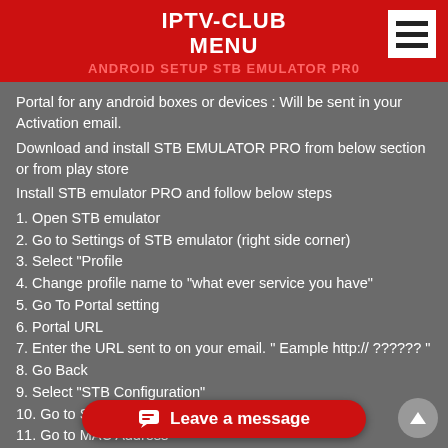IPTV-CLUB
MENU
ANDROID SETUP STB EMULATOR PR0
Portal for any android boxes or devices : Will be sent in your Activation email.
Download and install STB EMULATOR PRO from below section or from play store
Install STB emulator PRO and follow below steps
1. Open STB emulator
2. Go to Settings of STB emulator (right side corner)
3. Select "Profile
4. Change profile name to "what ever service you have"
5. Go To Portal setting
6. Portal URL
7. Enter the URL sent to on your email. " Eample http:// ?????? "
8. Go Back
9. Select "STB Configuration"
10. Go to STB Model select M
11. Go to MAC Address